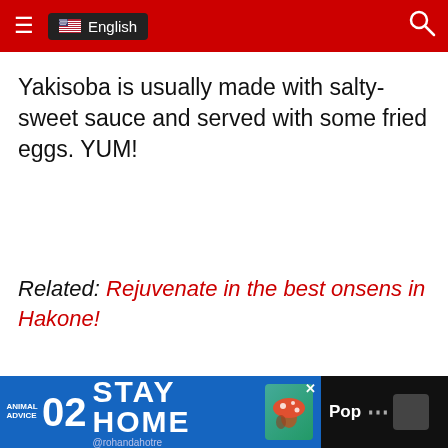≡  🇺🇸 English   🔍
Yakisoba is usually made with salty-sweet sauce and served with some fried eggs. YUM!
Related: Rejuvenate in the best onsens in Hakone!
[Figure (other): Advertisement banner: ANIMAL ADVICE / STAY HOME 02 / @rohandahotre, with colorful mushroom/nature illustration, close button, and partial media player controls]